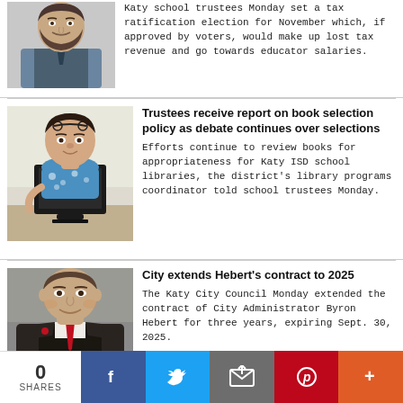[Figure (photo): Headshot of a bearded man in a blue blazer]
Katy school trustees Monday set a tax ratification election for November which, if approved by voters, would make up lost tax revenue and go towards educator salaries.
[Figure (photo): Woman sitting at a desk or podium with a computer monitor, wearing a blue floral top]
Trustees receive report on book selection policy as debate continues over selections
Efforts continue to review books for appropriateness for Katy ISD school libraries, the district's library programs coordinator told school trustees Monday.
[Figure (photo): Headshot of a man in a dark suit with a red tie, formal portrait]
City extends Hebert's contract to 2025
The Katy City Council Monday extended the contract of City Administrator Byron Hebert for three years, expiring Sept. 30, 2025.
0 SHARES  Facebook  Twitter  Email  Pinterest  More